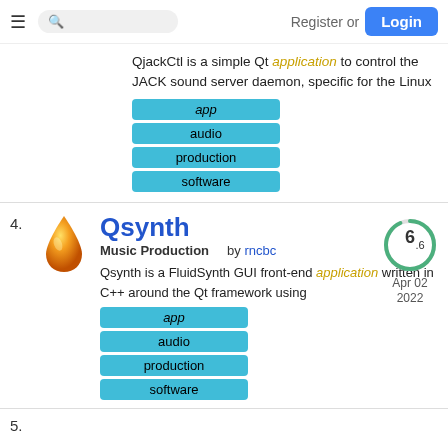Register or Login
QjackCtl is a simple Qt application to control the JACK sound server daemon, specific for the Linux
app
audio
production
software
4.
[Figure (illustration): Orange water drop icon for Qsynth]
Qsynth
6.6 Apr 02 2022
Music Production   by rncbc
Qsynth is a FluidSynth GUI front-end application written in C++ around the Qt framework using
app
audio
production
software
5.